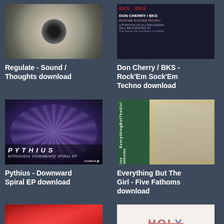[Figure (photo): Vinyl record image for Regulate - Sound / Thoughts]
Regulate - Sound / Thoughts download
[Figure (photo): Don Cherry / BKS cover with red text]
Don Cherry / BKS - Rock'Em Sock'Em Techno download
[Figure (photo): Pythius - Downward Spiral EP cover with spiral staircase]
Pythius - Downward Spiral EP download
[Figure (photo): Everything But The Girl - Five Fathoms Cassette cover]
Everything But The Girl - Five Fathoms download
[Figure (photo): Wolftek album cover with red abstract image]
[Figure (photo): Holy Fuck album cover with decorative text on white background]